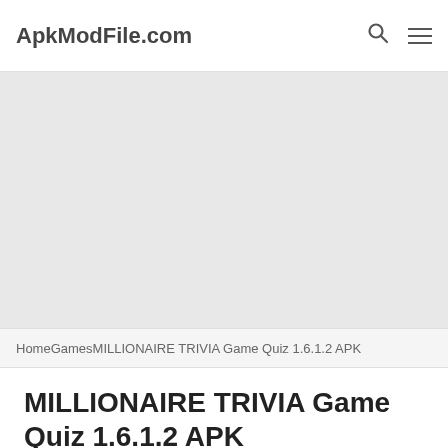ApkModFile.com
[Figure (other): Large light gray advertisement or banner placeholder area]
HomeGamesMILLIONAIRE TRIVIA Game Quiz 1.6.1.2 APK
MILLIONAIRE TRIVIA Game Quiz 1.6.1.2 APK